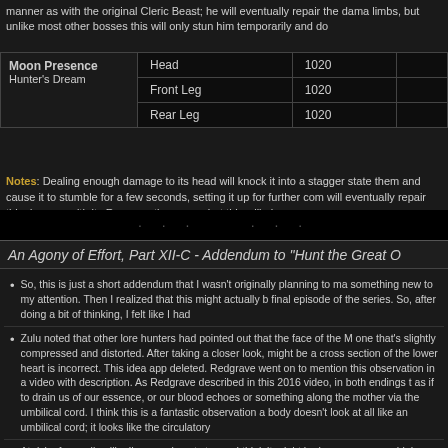manner as with the original Cleric Beast; he will eventually repair the damage to his limbs, but unlike most other bosses this will only stun him temporarily and do
| Boss | Location | Part | HP |
| --- | --- | --- | --- |
| Moon Presence | Hunter's Dream | Head | 1020 |
|  |  | Front Leg | 1020 |
|  |  | Rear Leg | 1020 |
Notes: Dealing enough damage to its head will knock it into a stagger state them and cause it to stumble for a few seconds, setting it up for further com will eventually repair this damage with its Regeneration move, but this will als
An Agony of Effort, Part XII-C - Addendum to "Hunt the Great O"
So, this is just a short addendum that I wasn't originally planning to make, something new to my attention. Then I realized that this might actually be the final episode of the series. So, after doing a bit of thinking, I felt like I had
Zulu noted that other lore hunters had pointed out that the face of the Moon Presence looks like one that's slightly compressed and distorted. After taking a closer look, might be a cross section of the lower heart is incorrect. This idea app deleted. Redgrave went on to mention this observation in a video with description. As Redgrave described in this 2016 video, in both endings t as if to drain us of our essence, or our blood echoes or something along the mother via the umbilical cord. I think this is a fantastic observation a body doesn't look at all like an umbilical cord; it looks like the circulatory
At risk of sounding like I'm grasping at straws, I think it might be b very high confidence are Great Ones, the Moon Presence being look like things found within the human body, but the theory was in pregnancy or childbirth. I think there might be something here and